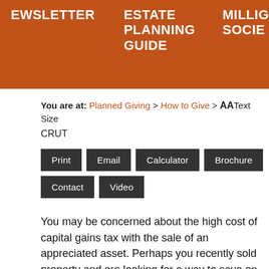EWSLETTER   ESTATE PLANNING GUIDE   MILLIG SOCIE
You are at: Planned Giving > How to Give > AA Text Size
CRUT
Print
Email
Calculator
Brochure
Contact
Video
You may be concerned about the high cost of capital gains tax with the sale of an appreciated asset. Perhaps you recently sold property and are looking for a way to save on